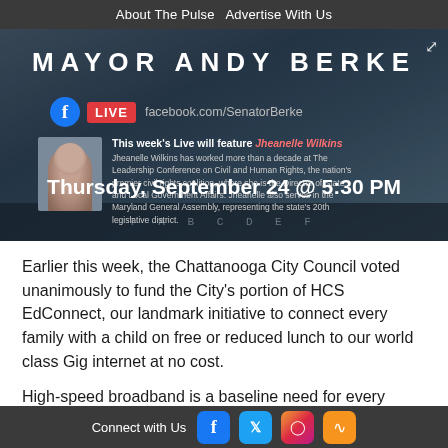About The Pulse  Advertise With Us
[Figure (screenshot): Facebook Live banner for Mayor Andy Berke featuring Jheanelle Wilkins, Thursday September 24 at 5:30 PM, facebook.com/SenatorBerke]
Earlier this week, the Chattanooga City Council voted unanimously to fund the City's portion of HCS EdConnect, our landmark initiative to connect every family with a child on free or reduced lunch to our world class Gig internet at no cost.
High-speed broadband is a baseline need for every family. For work, for school, for our quality of life, the internet is not a
Connect with Us